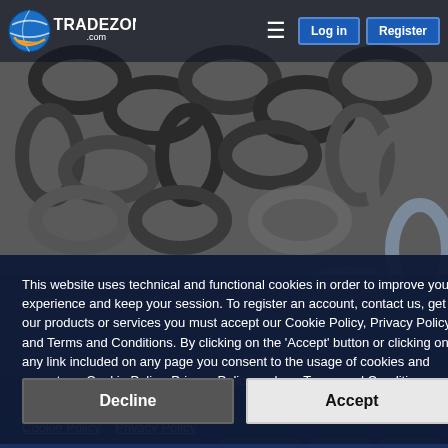[Figure (screenshot): Tradezone.com website header with logo, hamburger menu, Log in and Register buttons on a dark overlay, with a background photo of metal chains.]
This website uses technical and functional cookies in order to improve your experience and keep your session. To register an account, contact us, get our products or services you must accept our Cookie Policy, Privacy Policy and Terms and Conditions. By clicking on the ‘Accept’ button or clicking on any link included on any page you consent to the usage of cookies and accept our Cookie Policy, Privacy Policy and our Terms and Conditions . Terms and Conditions Cookie Policy  Privacy Policy
[Figure (screenshot): Two buttons: Decline (dark grey) and Accept (light grey/white)]